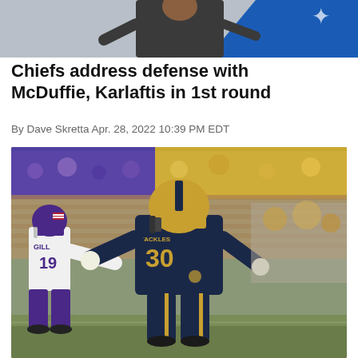[Figure (photo): Top partial photo showing person in black clothing against blue background, cropped at top]
Chiefs address defense with McDuffie, Karlaftis in 1st round
By Dave Skretta Apr. 28, 2022 10:39 PM EDT
[Figure (photo): Michigan Wolverines player #30 in navy and yellow uniform defending against Northwestern player #19 (GILL) in white and purple uniform on football field with crowd in background]